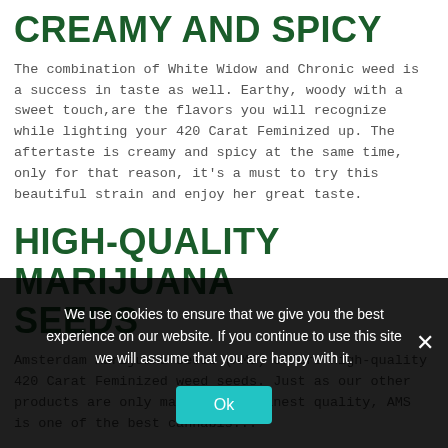CREAMY AND SPICY
The combination of White Widow and Chronic weed is a success in taste as well. Earthy, woody with a sweet touch, are the flavors you will recognize while lighting your 420 Carat Feminized up. The aftertaste is creamy and spicy at the same time, only for that reason, it's a must to try this beautiful strain and enjoy her great taste.
HIGH-QUALITY MARIJUANA SEEDS
Amsterdam Marijuana Seeds (AMS) offers high-quality 420 Carat Feminized weed seeds. Just as our other products are only made of the finest quality, AMS is one of the best cannabis...
We use cookies to ensure that we give you the best experience on our website. If you continue to use this site we will assume that you are happy with it.